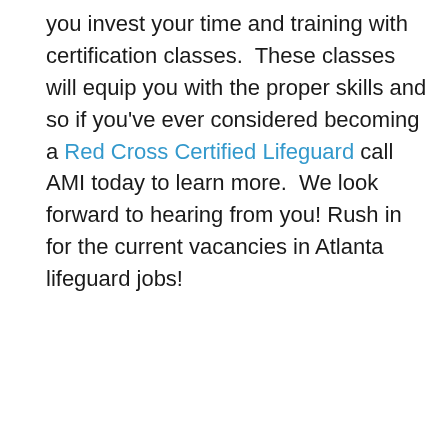you invest your time and training with certification classes.  These classes will equip you with the proper skills and so if you've ever considered becoming a Red Cross Certified Lifeguard call AMI today to learn more.  We look forward to hearing from you! Rush in for the current vacancies in Atlanta lifeguard jobs!